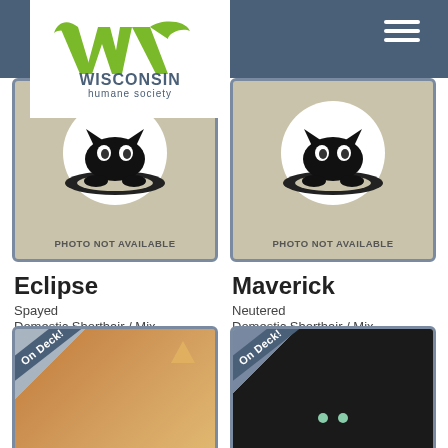[Figure (logo): Wisconsin Humane Society logo with green W and cat face graphic, white background]
[Figure (photo): Photo not available placeholder with cat silhouette icon - left card (Eclipse)]
[Figure (photo): Photo not available placeholder with cat silhouette icon - right card (Maverick)]
PHOTO NOT AVAILABLE
PHOTO NOT AVAILABLE
Eclipse
Spayed
Domestic Shorthair / Mix
2 years
Ozaukee Campus
Maverick
Neutered
Domestic Shorthair / Mix
8 years
Milwaukee Campus
[Figure (photo): Orange and white cat photo with 'On Deck!' ribbon banner]
[Figure (photo): Black cat photo with 'On Deck!' ribbon banner]